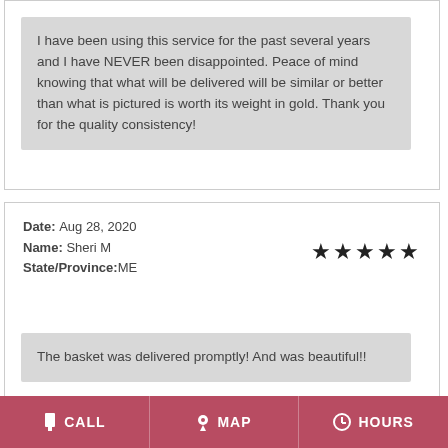I have been using this service for the past several years and I have NEVER been disappointed. Peace of mind knowing that what will be delivered will be similar or better than what is pictured is worth its weight in gold. Thank you for the quality consistency!
Date: Aug 28, 2020
Name: Sheri M
State/Province: ME
[Figure (other): 5 filled star rating icons]
The basket was delivered promptly! And was beautiful!!
CALL  MAP  HOURS